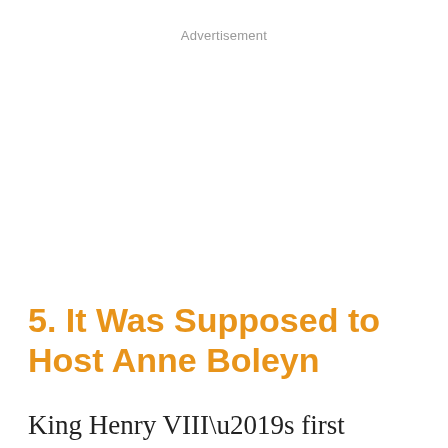Advertisement
5. It Was Supposed to Host Anne Boleyn
King Henry VIII’s first doomed wife, the